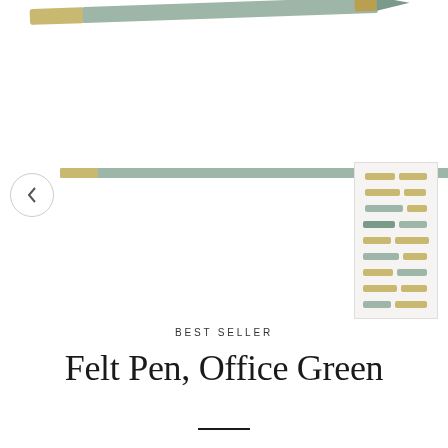[Figure (photo): Diagonal view of a mint/sage green felt pen with gold accent cap, cropped at the top of the page. A thumbnail strip on the right shows multiple pens and caps in various positions.]
BEST SELLER
Felt Pen, Office Green